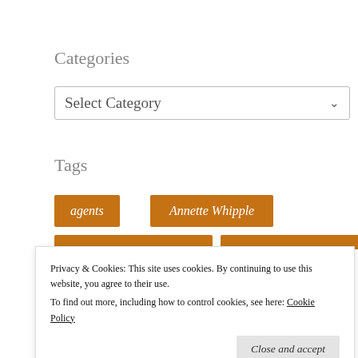Categories
[Figure (screenshot): A dropdown select box labeled 'Select Category' with a chevron arrow on the right]
Tags
agents
Annette Whipple
Carol McAdams Moore
Privacy & Cookies: This site uses cookies. By continuing to use this website, you agree to their use.
To find out more, including how to control cookies, see here: Cookie Policy
Close and accept